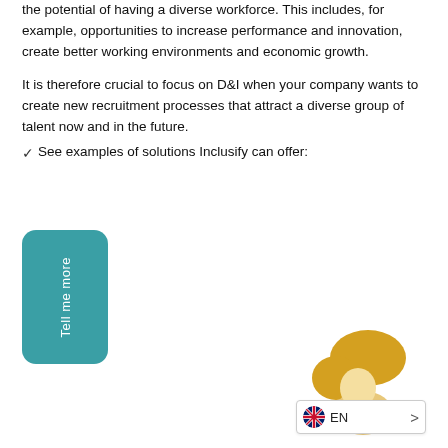the potential of having a diverse workforce. This includes, for example, opportunities to increase performance and innovation, create better working environments and economic growth.
It is therefore crucial to focus on D&I when your company wants to create new recruitment processes that attract a diverse group of talent now and in the future.
✓ See examples of solutions Inclusify can offer:
[Figure (other): Teal rounded rectangle button with white vertical text reading 'Tell me more']
[Figure (illustration): Partial illustration of a person with golden/yellow hair visible at bottom right of page, along with a language selector widget showing UK flag and 'EN']